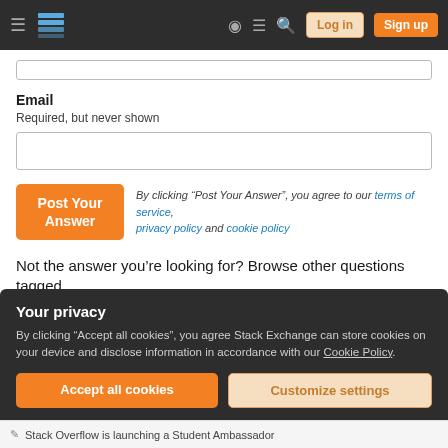[Figure (screenshot): Stack Exchange navigation bar with hamburger menu, logo, help icon, chat icon, search icon, Log in button, and Sign up button on dark background]
Email
Required, but never shown
Post Your Answer
By clicking “Post Your Answer”, you agree to our terms of service, privacy policy and cookie policy
Not the answer you’re looking for? Browse other questions tagged
magento2  multistore  magento2.3  home
Your privacy
By clicking “Accept all cookies”, you agree Stack Exchange can store cookies on your device and disclose information in accordance with our Cookie Policy.
Accept all cookies
Customize settings
Stack Overflow is launching a Student Ambassador